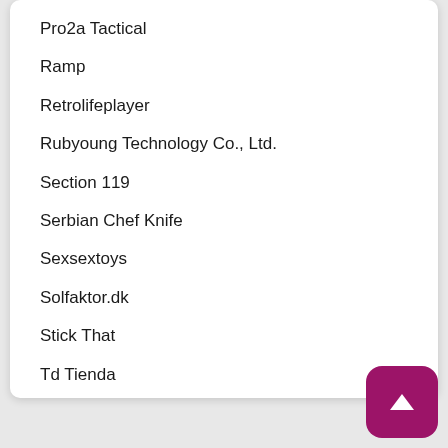Pro2a Tactical
Ramp
Retrolifeplayer
Rubyoung Technology Co., Ltd.
Section 119
Serbian Chef Knife
Sexsextoys
Solfaktor.dk
Stick That
Td Tienda
Tessin Fi